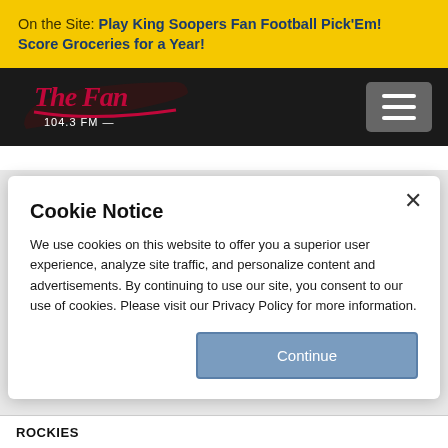On the Site: Play King Soopers Fan Football Pick'Em! Score Groceries for a Year!
[Figure (logo): The Fan 104.3 FM radio station logo in red script on black background]
Cookie Notice
We use cookies on this website to offer you a superior user experience, analyze site traffic, and personalize content and advertisements. By continuing to use our site, you consent to our use of cookies. Please visit our Privacy Policy for more information.
Continue
ROCKIES